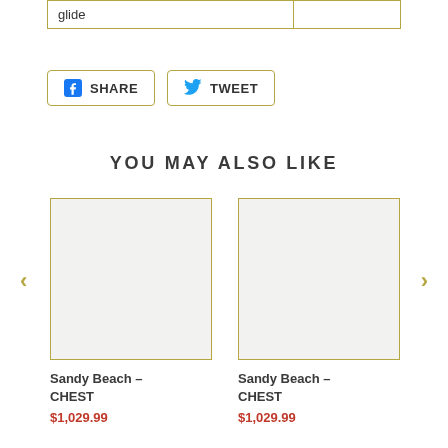| glide |  |
[Figure (screenshot): Share on Facebook button with Facebook icon and text SHARE, and Tweet button with Twitter bird icon and text TWEET, both with olive/gold borders]
YOU MAY ALSO LIKE
[Figure (photo): Product image placeholder - light gray square with olive border for Sandy Beach - CHEST]
Sandy Beach - CHEST
$1,029.99
[Figure (photo): Product image placeholder - light gray square with olive border for Sandy Beach - CHEST]
Sandy Beach - CHEST
$1,029.99